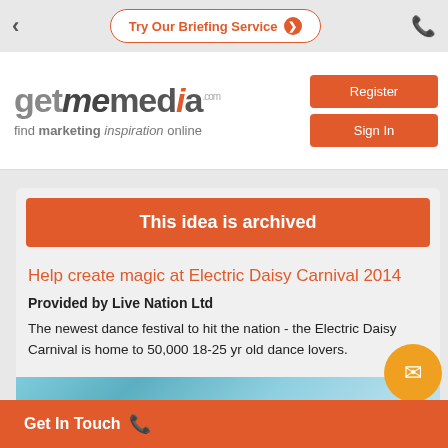Try Our Briefing Service
[Figure (logo): getmemedia.com logo with tagline 'find marketing inspiration online' and Register/Sign In buttons]
This idea is archived
Help create magic at Electric Daisy Carnival 2014
Provided by Live Nation Ltd
The newest dance festival to hit the nation - the Electric Daisy Carnival is home to 50,000 18-25 yr old dance lovers.
[Figure (photo): Electric Daisy Carnival promotional image with Insomniac branding on teal/aqua background]
Get In Touch